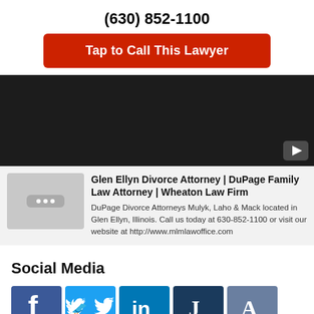(630) 852-1100
Tap to Call This Lawyer
[Figure (screenshot): Dark video player block with YouTube play button in bottom right corner]
[Figure (screenshot): Video card with thumbnail showing chat/message icon placeholder, title 'Glen Ellyn Divorce Attorney | DuPage Family Law Attorney | Wheaton Law Firm', and description about DuPage Divorce Attorneys Mulyk, Laho & Mack]
Social Media
[Figure (infographic): Row of social media icons: Facebook (blue f), Twitter (blue bird), LinkedIn (blue in), Justia (dark blue J), Avvo (grey-blue A)]